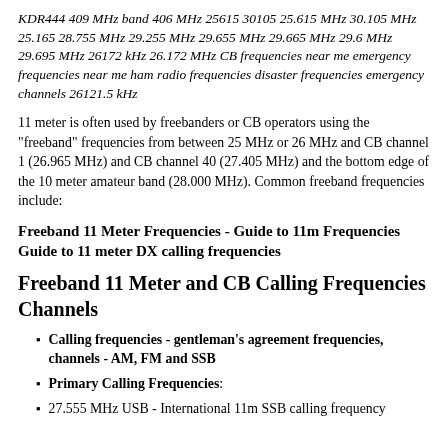KDR444 409 MHz band 406 MHz 25615 30105 25.615 MHz 30.105 MHz 25.165 28.755 MHz 29.255 MHz 29.655 MHz 29.665 MHz 29.6 MHz 29.695 MHz 26172 kHz 26.172 MHz CB frequencies near me emergency frequencies near me ham radio frequencies disaster frequencies emergency channels 26121.5 kHz
11 meter is often used by freebanders or CB operators using the "freeband" frequencies from between 25 MHz or 26 MHz and CB channel 1 (26.965 MHz) and CB channel 40 (27.405 MHz) and the bottom edge of the 10 meter amateur band (28.000 MHz). Common freeband frequencies include:
Freeband 11 Meter Frequencies - Guide to 11m Frequencies Guide to 11 meter DX calling frequencies
Freeband 11 Meter and CB Calling Frequencies Channels
Calling frequencies - gentleman's agreement frequencies, channels - AM, FM and SSB
Primary Calling Frequencies:
27.555 MHz USB - International 11m SSB calling frequency